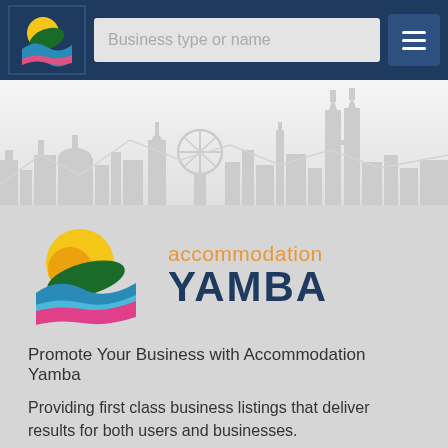Business type or name — navigation bar with logo and menu
[Figure (illustration): City skyline silhouette banner with buildings and towers in light grey on white/light grey background]
[Figure (logo): Accommodation Yamba logo: circular graphic with sun, wave and green shapes in yellow, blue, green and pink. Text reads 'accommodation' in orange and 'YAMBA' in dark navy bold.]
Promote Your Business with Accommodation Yamba
Providing first class business listings that deliver results for both users and businesses.
Please Press Claim Listing if you are the business owner.